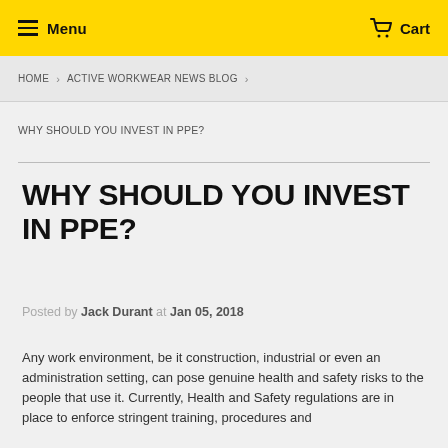Menu  Cart
HOME › ACTIVE WORKWEAR NEWS BLOG ›
WHY SHOULD YOU INVEST IN PPE?
WHY SHOULD YOU INVEST IN PPE?
Posted by Jack Durant at Jan 05, 2018
Any work environment, be it construction, industrial or even an administration setting, can pose genuine health and safety risks to the people that use it. Currently, Health and Safety regulations are in place to enforce stringent training, procedures and